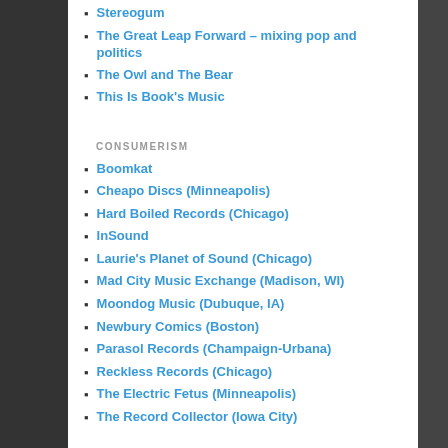Stereogum
The Great Leap Forward – mixing pop and politics
The Owl and The Bear
This Is Book's Music
CONSUMERISM
Boomkat
Cheapo Discs (Minneapolis)
Hard Boiled Records (Chicago)
InSound
Laurie's Planet of Sound (Chicago)
Mad City Music Exchange (Madison, WI)
Moondog Music (Dubuque, IA)
Newbury Comics (Boston)
Parasol Records (Champaign-Urbana)
Reckless Records (Chicago)
The Electric Fetus (Minneapolis)
The Record Collector (Iowa City)
LAST NIGHT A DJ SAVED MY LIFE
89.3 The Current (Twin Cities)